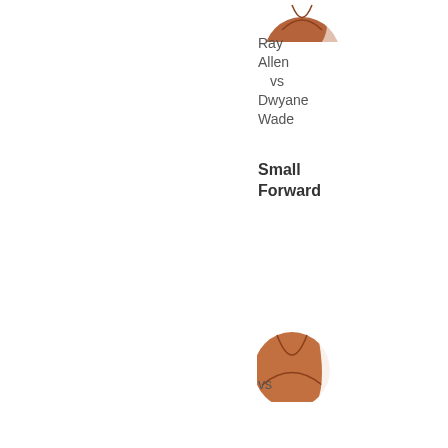[Figure (photo): Partial view of a basketball (brown/orange) cropped at the top of the page]
Ray Allen vs Dwyane Wade
Small Forward
[Figure (photo): Partial view of a basketball (brown/orange) cropped at the bottom section of the page]
vs